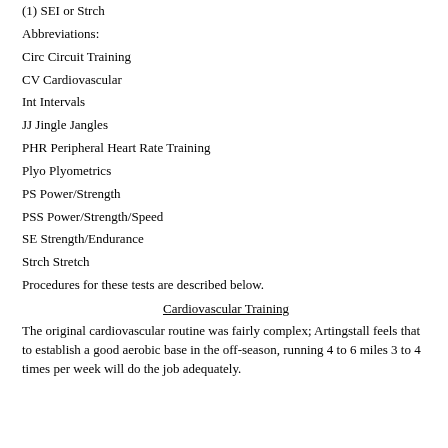(1) SEI or Strch
Abbreviations:
Circ Circuit Training
CV Cardiovascular
Int Intervals
JJ Jingle Jangles
PHR Peripheral Heart Rate Training
Plyo Plyometrics
PS Power/Strength
PSS Power/Strength/Speed
SE Strength/Endurance
Strch Stretch
Procedures for these tests are described below.
Cardiovascular Training
The original cardiovascular routine was fairly complex; Artingstall feels that to establish a good aerobic base in the off-season, running 4 to 6 miles 3 to 4 times per week will do the job adequately.